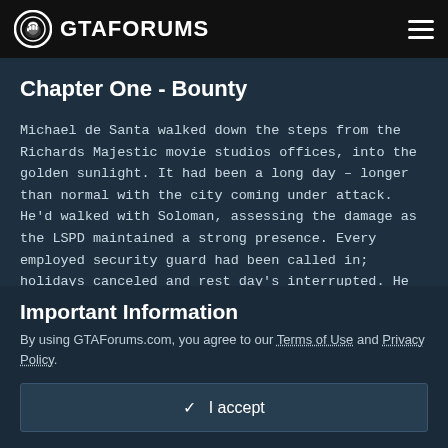GTAFORUMS
Chapter One - Bounty
Michael de Santa walked down the steps from the Richards Majestic movie studios offices, into the golden sunlight. It had been a long day – longer than normal with the city coming under attack. He'd walked with Soloman, assessing the damage as the LSPD maintained a strong presence. Every employed security guard had been called in; holidays canceled and rest day's interrupted. He felt like watching the sun disappear over the ocean, knowing the streets would be quieter than normal. He walked toward his car – a midnight purple convertible
Important Information
By using GTAForums.com, you agree to our Terms of Use and Privacy Policy.
✓  I accept